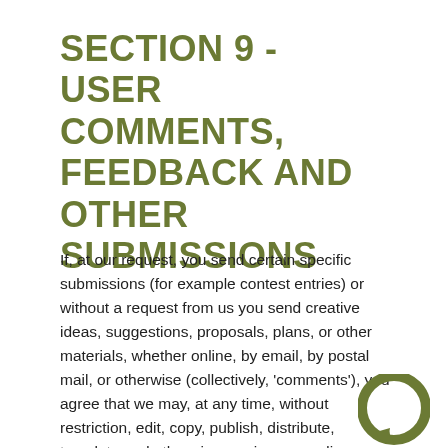SECTION 9 - USER COMMENTS, FEEDBACK AND OTHER SUBMISSIONS
If, at our request, you send certain specific submissions (for example contest entries) or without a request from us you send creative ideas, suggestions, proposals, plans, or other materials, whether online, by email, by postal mail, or otherwise (collectively, 'comments'), you agree that we may, at any time, without restriction, edit, copy, publish, distribute, translate and otherwise use in any medium any comments that you forward to us. We are and shall be under no obligation (1) to maintain any